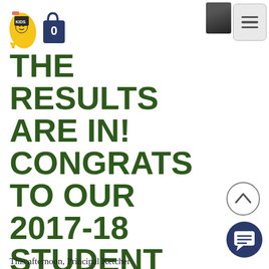[Figure (logo): School supply mascot logo icons (pencil character and shopping bag with 0) in top left header area]
[Figure (screenshot): User profile photo thumbnail (dark/blurred) in top right corner next to hamburger menu button]
THE RESULTS ARE IN! CONGRATS TO OUR 2017-18 STUDENT COUNCIL
[Figure (other): Circular scroll-up chevron button on the right side]
[Figure (other): Dark circular chat/messaging button at bottom right]
This afternoon, Principal Ketcher